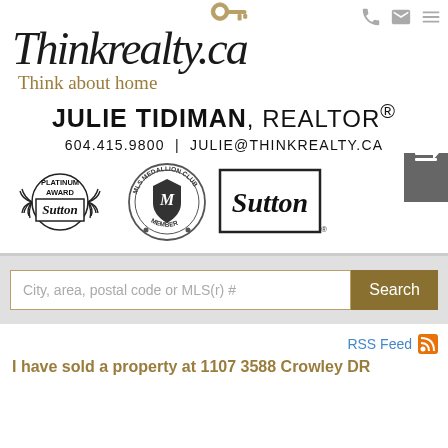[Figure (logo): Thinkrealty.ca logo with script font and key icon, tagline 'Think about home']
JULIE TIDIMAN, REALTOR®
604.415.9800  |  JULIE@THINKREALTY.CA
[Figure (logo): Sutton Platinum Award badge, MLS Medallion Club Member badge, Sutton logo]
City, area, postal code or MLS(r) #
RSS Feed
I have sold a property at 1107 3588 Crowley DR